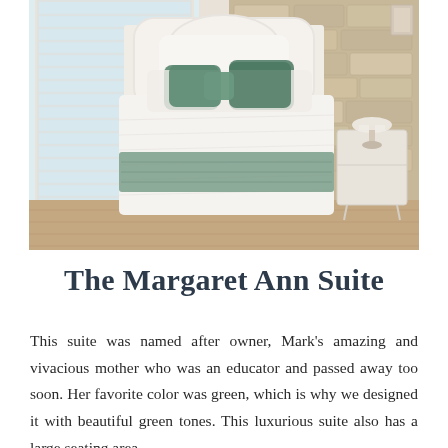[Figure (photo): A bedroom photo showing a bed with a white ornate headboard, green decorative pillows and a sage/grey blanket runner, white linen bedding. Stone accent wall in background, window with white blinds on left, a small white nightstand with a lamp on the right, hardwood floor visible.]
The Margaret Ann Suite
This suite was named after owner, Mark's amazing and vivacious mother who was an educator and passed away too soon. Her favorite color was green, which is why we designed it with beautiful green tones. This luxurious suite also has a large seating area